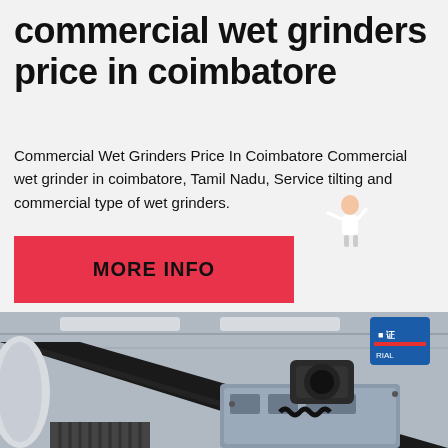commercial wet grinders price in coimbatore
Commercial Wet Grinders Price In Coimbatore Commercial wet grinder in coimbatore, Tamil Nadu, Service tilting and commercial type of wet grinders.
[Figure (other): Red button with bold text MORE INFO and a blue chat bubble with Free chat label, with a small assistant figure illustration]
[Figure (photo): Close-up industrial photo of a commercial grinding machine with belt drives, motor housing, and mechanical components in a factory setting]